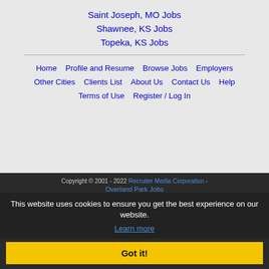Saint Joseph, MO Jobs
Shawnee, KS Jobs
Topeka, KS Jobs
Home | Profile and Resume | Browse Jobs | Employers | Other Cities | Clients List | About Us | Contact Us | Help | Terms of Use | Register / Log In
Copyright © 2001 - 2022 Recruiter Media Corporation - Overland Park Jobs
This website uses cookies to ensure you get the best experience on our website. Learn more
Got it!